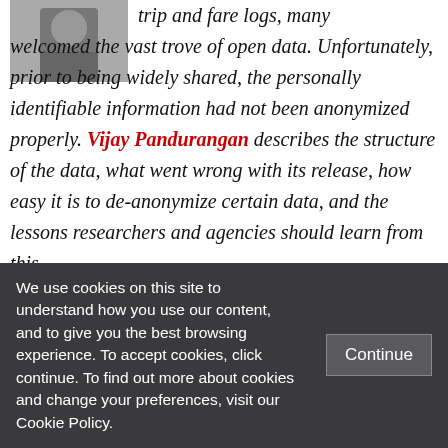[Figure (photo): Small black and white thumbnail photo of a person in the top-left corner]
trip and fare logs, many welcomed the vast trove of open data. Unfortunately, prior to being widely shared, the personally identifiable information had not been anonymized properly. Vijay Pandurangan describes the structure of the data, what went wrong with its release, how easy it is to de-anonymize certain data, and the lessons researchers and agencies should learn from this.
We use cookies on this site to understand how you use our content, and to give you the best browsing experience. To accept cookies, click continue. To find out more about cookies and change your preferences, visit our Cookie Policy.